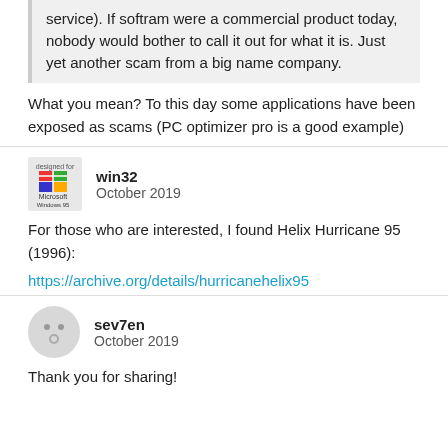service). If softram were a commercial product today, nobody would bother to call it out for what it is. Just yet another scam from a big name company.
What you mean? To this day some applications have been exposed as scams (PC optimizer pro is a good example)
win32
October 2019
For those who are interested, I found Helix Hurricane 95 (1996):
https://archive.org/details/hurricanehelix95
sev7en
October 2019
Thank you for sharing!